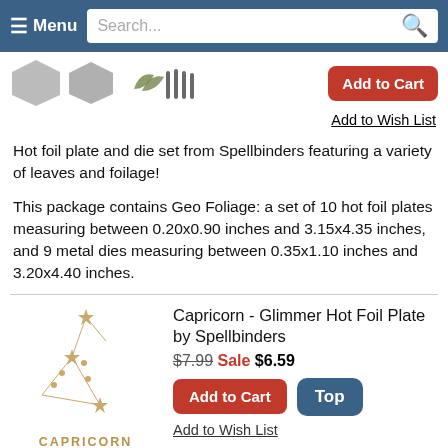≡ Menu  Search...
[Figure (illustration): Two gray hexagon shapes and leaf/foliage icon, with red Add to Cart button]
Add to Wish List
Hot foil plate and die set from Spellbinders featuring a variety of leaves and foilage!
This package contains Geo Foliage: a set of 10 hot foil plates measuring between 0.20x0.90 inches and 3.15x4.35 inches, and 9 metal dies measuring between 0.35x1.10 inches and 3.20x4.40 inches.
[Figure (illustration): Capricorn constellation diagram with stars and connecting lines, labeled CAPRICORN DEC 22 - JAN 19, HUMOROUS • DRIVEN • STRONG]
Capricorn - Glimmer Hot Foil Plate by Spellbinders
$7.99 Sale $6.59
Add to Cart
Top
Add to Wish List